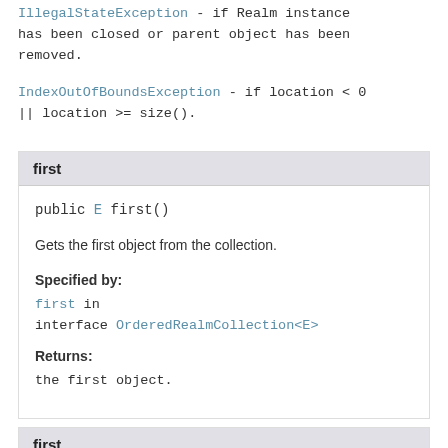IllegalStateException - if Realm instance has been closed or parent object has been removed.
IndexOutOfBoundsException - if location < 0 || location >= size().
first
public E first()
Gets the first object from the collection.
Specified by:
first in interface OrderedRealmCollection<E>
Returns:
the first object.
first